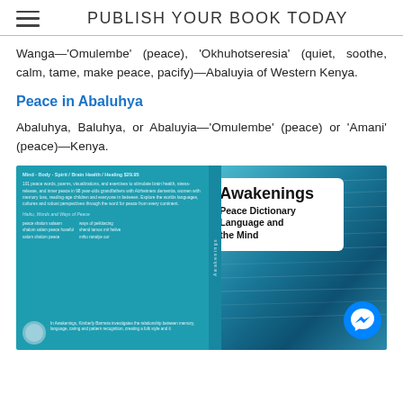PUBLISH YOUR BOOK TODAY
Wanga—'Omulembe' (peace), 'Okhuhotseresia' (quiet, soothe, calm, tame, make peace, pacify)—Abaluyia of Western Kenya.
Peace in Abaluhya
Abaluhya, Baluhya, or Abaluyia—'Omulembe' (peace) or 'Amani' (peace)—Kenya.
[Figure (photo): Book cover image for 'Awakenings: Peace Dictionary Language and the Mind' on a teal/blue background with ocean imagery and a white speech bubble containing the book title. A Facebook Messenger icon is visible in the lower right corner.]